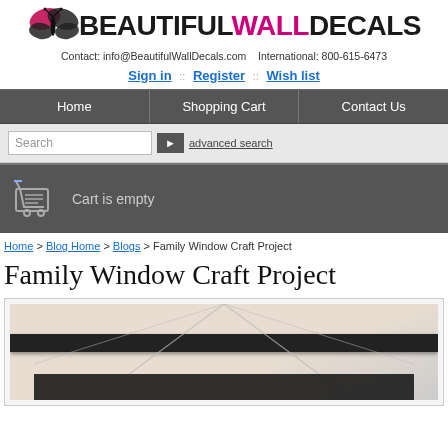[Figure (logo): Beautiful Wall Decals logo with butterfly icon and stylized text]
Contact: info@BeautifulWallDecals.com  International: 800-615-6473
Sign in :: Register :: Wish list
Home | Shopping Cart | Contact Us
Search  advanced search
Cart is empty
Home > Blog Home > Blogs > Family Window Craft Project
Family Window Craft Project
[Figure (photo): Photo showing a window craft project with dark frame/trim and geometric design]